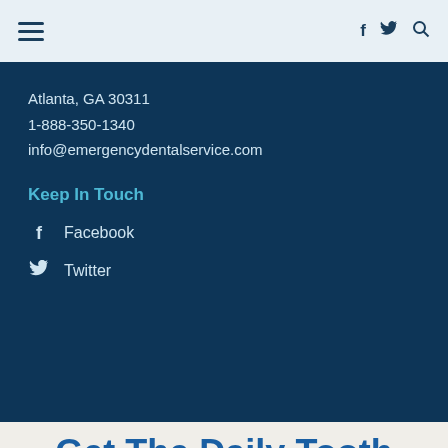≡   f  𝕏  🔍
Atlanta, GA 30311
1-888-350-1340
info@emergencydentalservice.com
Keep In Touch
Facebook
Twitter
Get The Daily Tooth Email